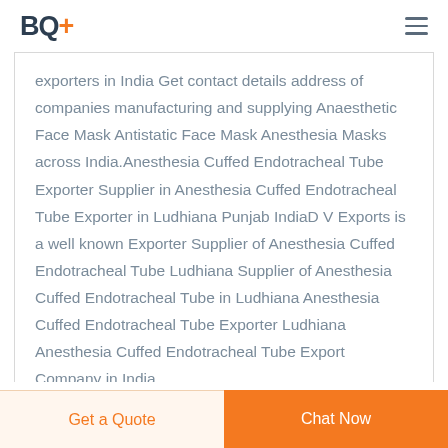BQ+
exporters in India Get contact details address of companies manufacturing and supplying Anaesthetic Face Mask Antistatic Face Mask Anesthesia Masks across India.Anesthesia Cuffed Endotracheal Tube Exporter Supplier in Anesthesia Cuffed Endotracheal Tube Exporter in Ludhiana Punjab IndiaD V Exports is a well known Exporter Supplier of Anesthesia Cuffed Endotracheal Tube Ludhiana Supplier of Anesthesia Cuffed Endotracheal Tube in Ludhiana Anesthesia Cuffed Endotracheal Tube Exporter Ludhiana Anesthesia Cuffed Endotracheal Tube Export Company in India..